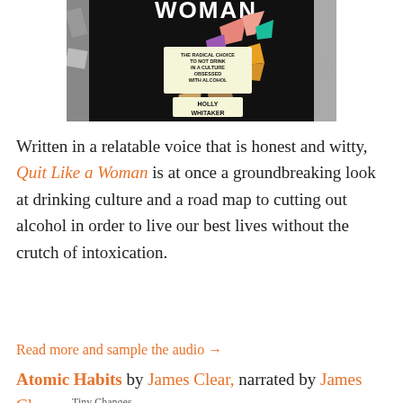[Figure (photo): Book cover of 'Quit Like a Woman' by Holly Whitaker — black background with colorful abstract paper bird shapes and white text reading 'THE RADICAL CHOICE TO NOT DRINK IN A CULTURE OBSESSED WITH ALCOHOL' and 'HOLLY WHITAKER']
Written in a relatable voice that is honest and witty, Quit Like a Woman is at once a groundbreaking look at drinking culture and a road map to cutting out alcohol in order to live our best lives without the crutch of intoxication.
Read more and sample the audio →
Atomic Habits by James Clear, narrated by James Clear
Tiny Changes